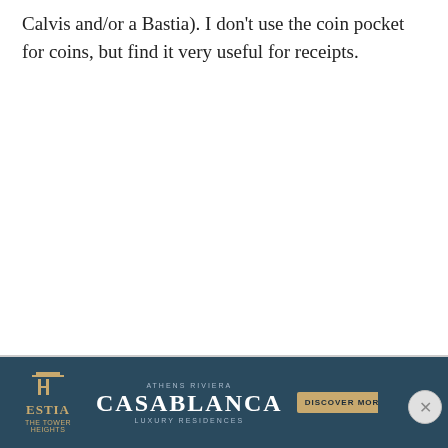Calvis and/or a Bastia). I don't use the coin pocket for coins, but find it very useful for receipts.
[Figure (other): Advertisement banner for CASABLANCA LUXURY RESIDENCES by ATHENS RIVIERA ESTIA. Dark blue background with gold logo and text, 'DISCOVER MORE' button, play and close controls.]